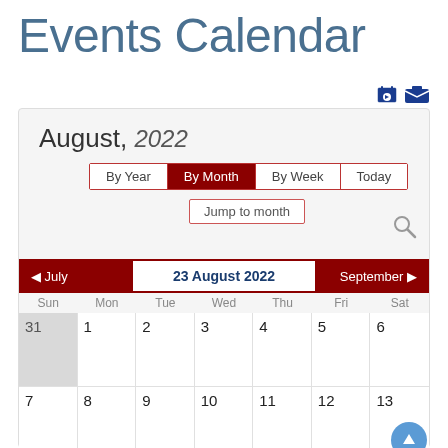Events Calendar
[Figure (screenshot): Calendar UI showing August 2022 with navigation buttons (By Year, By Month active, By Week, Today), Jump to month link, search icon, previous/next month navigation row showing 23 August 2022, day headers (Sun-Sat), and calendar grid showing dates 31 (prev month), 1-13]
August, 2022
By Year | By Month (active) | By Week | Today
Jump to month
◄ July   23 August 2022   September ►
| Sun | Mon | Tue | Wed | Thu | Fri | Sat |
| --- | --- | --- | --- | --- | --- | --- |
| 31 | 1 | 2 | 3 | 4 | 5 | 6 |
| 7 | 8 | 9 | 10 | 11 | 12 | 13 |